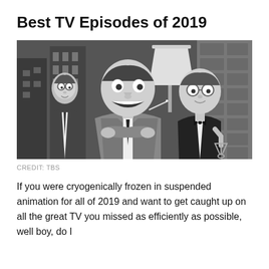Best TV Episodes of 2019
[Figure (illustration): Grayscale animated cartoon scene showing three men in formal attire (suits and tuxedos) in an urban setting. The central figure is a large man in a suit with a wide grin, flanked by two other men. One man on the right holds a martini glass and wears a tuxedo with a bow tie. City buildings are visible in the background.]
CREDIT: TBS
If you were cryogenically frozen in suspended animation for all of 2019 and want to get caught up on all the great TV you missed as efficiently as possible, well boy, do I